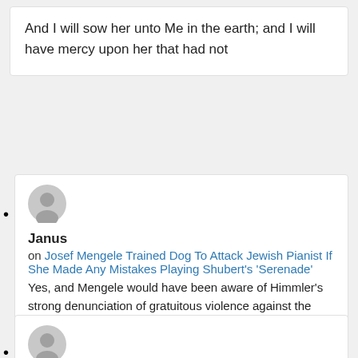And I will sow her unto Me in the earth; and I will have mercy upon her that had not
Janus
on Josef Mengele Trained Dog To Attack Jewish Pianist If She Made Any Mistakes Playing Shubert's ‘Serenade’
Yes, and Mengele would have been aware of Himmler's strong denunciation of gratuitous violence against the prisoners. Even mainstream Jewish